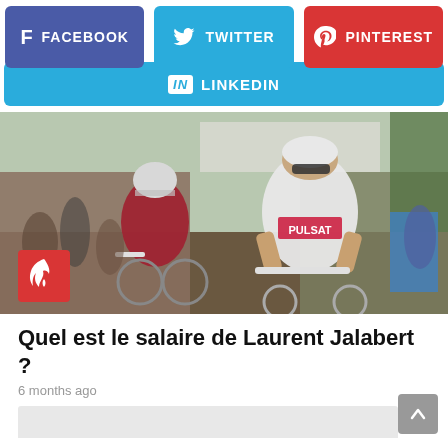[Figure (infographic): Social media share buttons: Facebook (purple), Twitter (blue), Pinterest (red), LinkedIn (blue)]
[Figure (photo): Two cyclists racing in a triathlon event through a crowd. The lead cyclist wears a white PULSAT jersey and sunglasses. A red fire badge icon overlay is in the bottom-left corner.]
Quel est le salaire de Laurent Jalabert ?
6 months ago